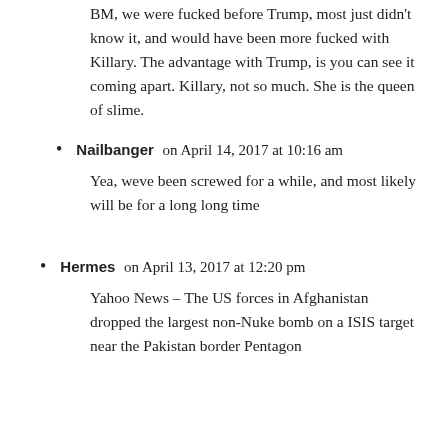BM, we were fucked before Trump, most just didn't know it, and would have been more fucked with Killary. The advantage with Trump, is you can see it coming apart. Killary, not so much. She is the queen of slime.
Nailbanger on April 14, 2017 at 10:16 am
Yea, weve been screwed for a while, and most likely will be for a long long time
Hermes on April 13, 2017 at 12:20 pm
Yahoo News – The US forces in Afghanistan dropped the largest non-Nuke bomb on a ISIS target near the Pakistan border Pentagon